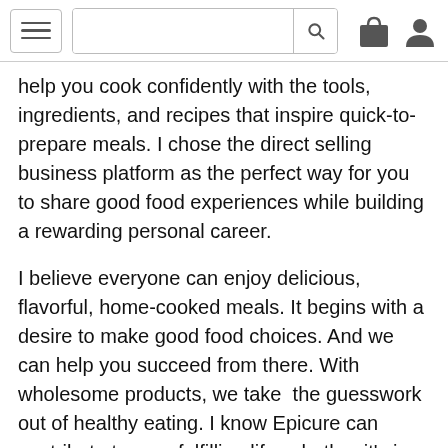[navigation bar with hamburger menu, search bar, bag icon, and user icon]
help you cook confidently with the tools, ingredients, and recipes that inspire quick-to-prepare meals. I chose the direct selling business platform as the perfect way for you to share good food experiences while building a rewarding personal career.
I believe everyone can enjoy delicious, flavorful, home-cooked meals. It begins with a desire to make good food choices. And we can help you succeed from there. With wholesome products, we take the guesswork out of healthy eating. I know Epicure can contribute to your fulfilling life, whether it's in the kitchen, at a Cooking Class, or through the freedom and flexibility of a home-based business.
Our goal is to inspire healthy changes for our plan and our future. We have a shared responsibility to